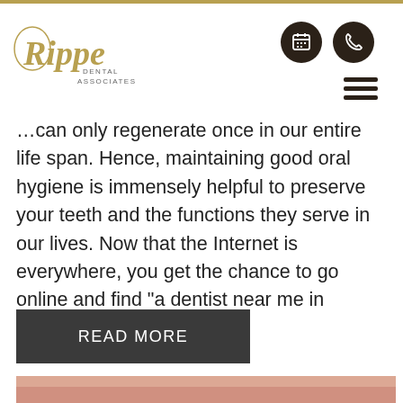Rippe Dental Associates logo with calendar and phone icon buttons and hamburger menu
…can only regenerate once in our entire life span. Hence, maintaining good oral hygiene is immensely helpful to preserve your teeth and the functions they serve in our lives. Now that the Internet is everywhere, you get the chance to go online and find “a dentist near me in Centennial.”
READ MORE
[Figure (photo): Close-up photo of a patient smiling while a dental professional uses dental tools, visible at the bottom of the page]